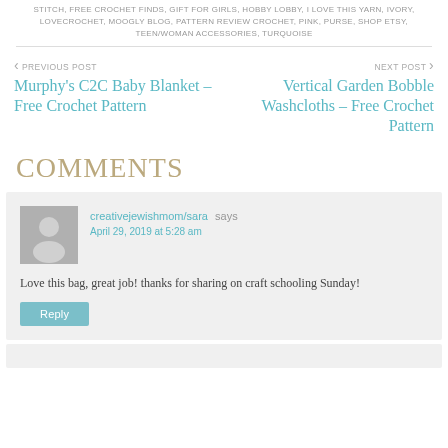STITCH, FREE CROCHET FINDS, GIFT FOR GIRLS, HOBBY LOBBY, I LOVE THIS YARN, IVORY, LOVECROCHET, MOOGLY BLOG, PATTERN REVIEW CROCHET, PINK, PURSE, SHOP ETSY, TEEN/WOMAN ACCESSORIES, TURQUOISE
< PREVIOUS POST Murphy's C2C Baby Blanket – Free Crochet Pattern
NEXT POST > Vertical Garden Bobble Washcloths – Free Crochet Pattern
COMMENTS
creativejewishmom/sara says April 29, 2019 at 5:28 am Love this bag, great job! thanks for sharing on craft schooling Sunday!
Reply